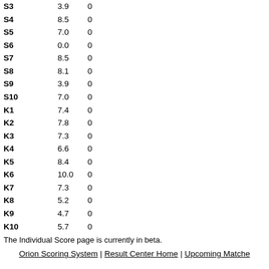|  |  |  |
| --- | --- | --- |
| S3 | 3.9 | 0 |
| S4 | 8.5 | 0 |
| S5 | 7.0 | 0 |
| S6 | 0.0 | 0 |
| S7 | 8.5 | 0 |
| S8 | 8.1 | 0 |
| S9 | 3.9 | 0 |
| S10 | 7.0 | 0 |
| K1 | 7.4 | 0 |
| K2 | 7.8 | 0 |
| K3 | 7.3 | 0 |
| K4 | 6.6 | 0 |
| K5 | 8.4 | 0 |
| K6 | 10.0 | 0 |
| K7 | 7.3 | 0 |
| K8 | 5.2 | 0 |
| K9 | 4.7 | 0 |
| K10 | 5.7 | 0 |
The Individual Score page is currently in beta.
Orion Scoring System | Result Center Home | Upcoming Matches